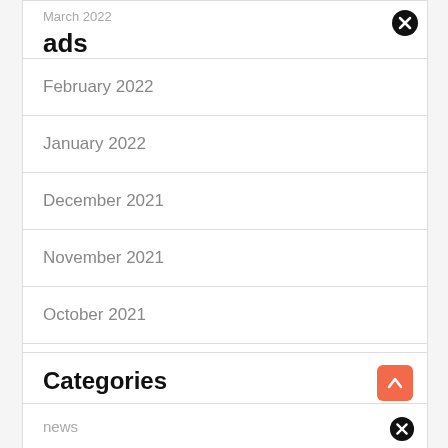ads
March 2022
February 2022
January 2022
December 2021
November 2021
October 2021
September 2021
Categories
news